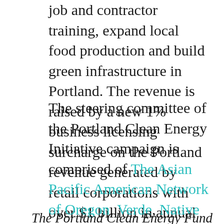job and contractor training, expand local food production and build green infrastructure in Portland. The revenue is raised by a new 1% business licensing surcharge on the Portland revenue generated by retail corporations with over $1 billion in annual revenue and at least $500,000 in Portland revenue.
The steering committee of the Portland Clean Energy Initiative campaign is comprised of The Asian Pacific American Network of Oregon, Verde, Native American Youth and Family Center, the Portland Branch of the NAACP, OPAL Environmental Justice Oregon, 350PDX, Sierra Club Oregon Chapter, Audubon Society of Portland, Oregon Physicians for Social Responsibility, Columbia Riverkeeper, and the Coalition of Communities of Color.
The Portland Clean Energy Fund Steering Committee: